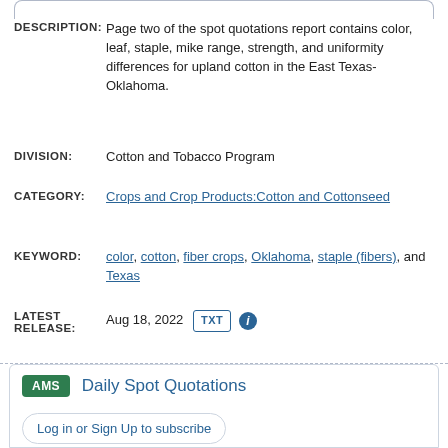DESCRIPTION: Page two of the spot quotations report contains color, leaf, staple, mike range, strength, and uniformity differences for upland cotton in the East Texas-Oklahoma.
DIVISION: Cotton and Tobacco Program
CATEGORY: Crops and Crop Products:Cotton and Cottonseed
KEYWORD: color, cotton, fiber crops, Oklahoma, staple (fibers), and Texas
LATEST RELEASE: Aug 18, 2022 TXT
AMS Daily Spot Quotations
Log in or Sign Up to subscribe